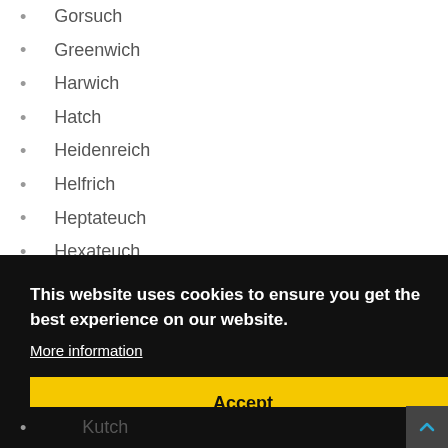Gorsuch
Greenwich
Harwich
Hatch
Heidenreich
Helfrich
Heptateuch
Hexateuch
Hitch
Holbach
Holbosch (partially visible)
This website uses cookies to ensure you get the best experience on our website.
More information
Accept
Kutch